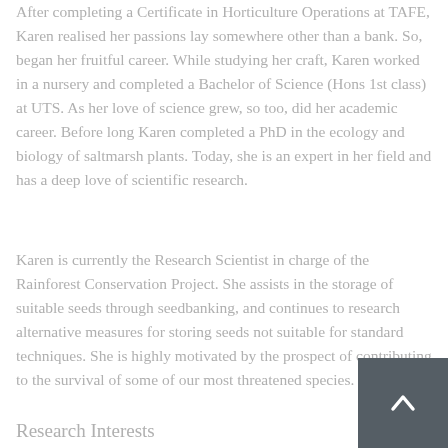After completing a Certificate in Horticulture Operations at TAFE, Karen realised her passions lay somewhere other than a bank. So, began her fruitful career. While studying her craft, Karen worked in a nursery and completed a Bachelor of Science (Hons 1st class) at UTS. As her love of science grew, so too, did her academic career. Before long Karen completed a PhD in the ecology and biology of saltmarsh plants. Today, she is an expert in her field and has a deep love of scientific research.
Karen is currently the Research Scientist in charge of the Rainforest Conservation Project. She assists in the storage of suitable seeds through seedbanking, and continues to research alternative measures for storing seeds not suitable for standard techniques. She is highly motivated by the prospect of contributing to the survival of some of our most threatened species.
Research Interests